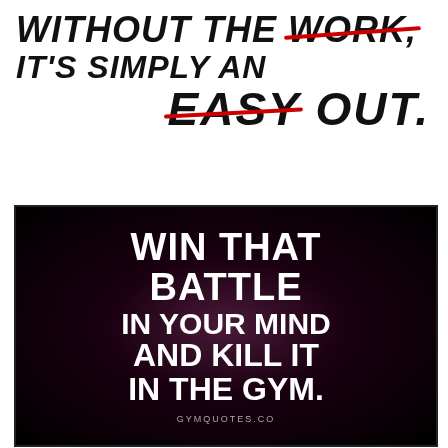[Figure (illustration): Motivational text image with brush-style text reading 'WITHOUT THE WORK, IT'S SIMPLY AN EASY OUT.' with red strikethroughs on 'WORK' and 'EASY', on white background]
[Figure (illustration): Dark purple/black motivational poster reading 'WIN THAT BATTLE IN YOUR MIND AND KILL IT IN THE GYM.' with white bold text, attribution GYMQUOTES.CO at bottom]